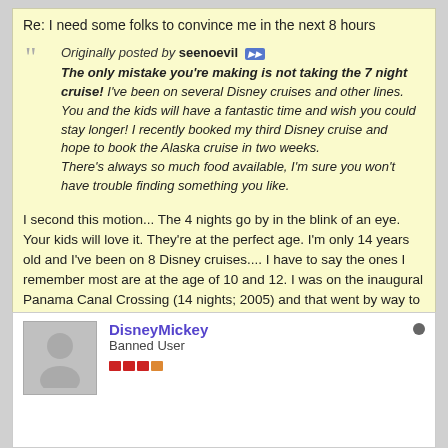Re: I need some folks to convince me in the next 8 hours
Originally posted by seenoevil
The only mistake you're making is not taking the 7 night cruise! I've been on several Disney cruises and other lines. You and the kids will have a fantastic time and wish you could stay longer! I recently booked my third Disney cruise and hope to book the Alaska cruise in two weeks.
There's always so much food available, I'm sure you won't have trouble finding something you like.
I second this motion... The 4 nights go by in the blink of an eye. Your kids will love it. They're at the perfect age. I'm only 14 years old and I've been on 8 Disney cruises.... I have to say the ones I remember most are at the age of 10 and 12. I was on the inaugural Panama Canal Crossing (14 nights; 2005) and that went by way to fast...
So I say go ahead and book it!!!
DisneyMickey
Banned User